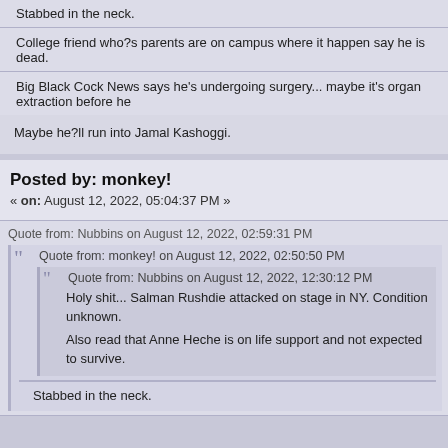Stabbed in the neck.
College friend who?s parents are on campus where it happen say he is dead.
Big Black Cock News says he's undergoing surgery... maybe it's organ extraction before he
Maybe he?ll run into Jamal Kashoggi.
Posted by: monkey!
« on: August 12, 2022, 05:04:37 PM »
Quote from: Nubbins on August 12, 2022, 02:59:31 PM
Quote from: monkey! on August 12, 2022, 02:50:50 PM
Quote from: Nubbins on August 12, 2022, 12:30:12 PM
Holy shit... Salman Rushdie attacked on stage in NY. Condition unknown.
Also read that Anne Heche is on life support and not expected to survive.
Stabbed in the neck.